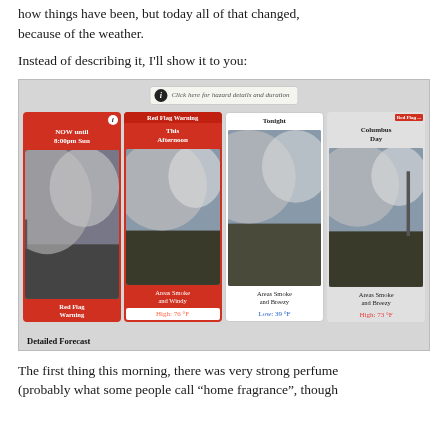how things have been, but today all of that changed, because of the weather.
Instead of describing it, I'll show it to you:
[Figure (screenshot): Screenshot of a weather forecast widget showing a Red Flag Warning. Four forecast panels: 'NOW until 8:00pm Sun' with Red Flag Warning on red background, 'This Afternoon' with Red Flag Warning header and Areas Smoke and Windy, High: 76°F, 'Tonight' with Areas Smoke and Breezy, Low: 39°F, 'Columbus Day' with Red Flag Warning and Areas Smoke and Breezy, High: 73°F. Bottom shows 'Detailed Forecast' label.]
The first thing this morning, there was very strong perfume (probably what some people call "home fragrance", though